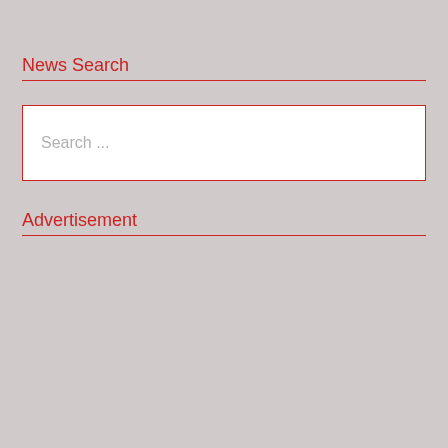News Search
[Figure (screenshot): Search input box with placeholder text 'Search ...' and red border]
Advertisement